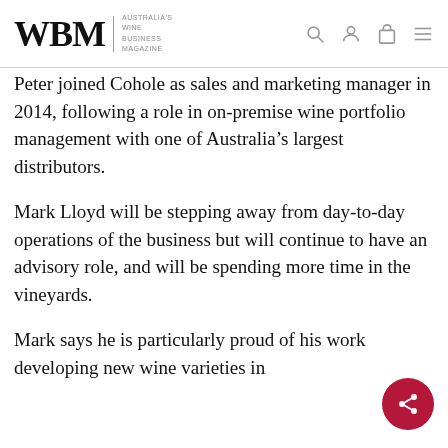WBM — Australia's Wine Business Magazine
Peter joined Cohole as sales and marketing manager in 2014, following a role in on-premise wine portfolio management with one of Australia's largest distributors.
Mark Lloyd will be stepping away from day-to-day operations of the business but will continue to have an advisory role, and will be spending more time in the vineyards.
Mark says he is particularly proud of his work developing new wine varieties in